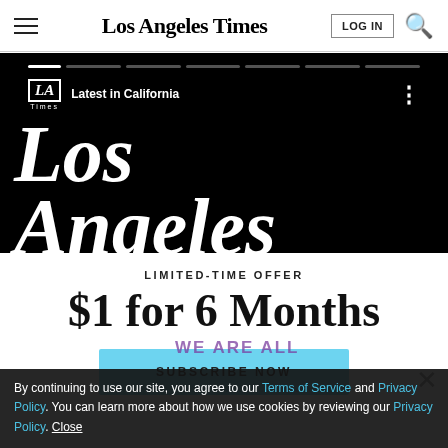Los Angeles Times
[Figure (screenshot): Los Angeles Times video/banner showing 'Latest in California' branding with large 'Los Angeles' text in blackletter script on black background, with progress bar and navigation dots]
LIMITED-TIME OFFER
$1 for 6 Months
SUBSCRIBE NOW
By continuing to use our site, you agree to our Terms of Service and Privacy Policy. You can learn more about how we use cookies by reviewing our Privacy Policy. Close